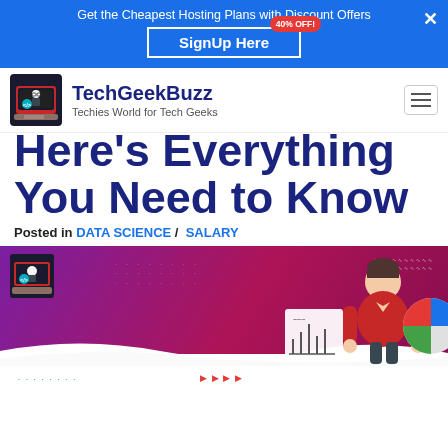Get the Cheapest Hosting Plans with Discount Offers — SignUp Here 40% OFF!
[Figure (logo): TechGeekBuzz logo: hacker with laptop, red and dark theme]
TechGeekBuzz
Techies World for Tech Geeks
Here's Everything You Need to Know
Posted in DATA SCIENCE / SALARY
[Figure (illustration): Dark magenta/purple hero banner with dots decoration, TechGeekBuzz hacker icon on left, person in red shirt holding charts on right]